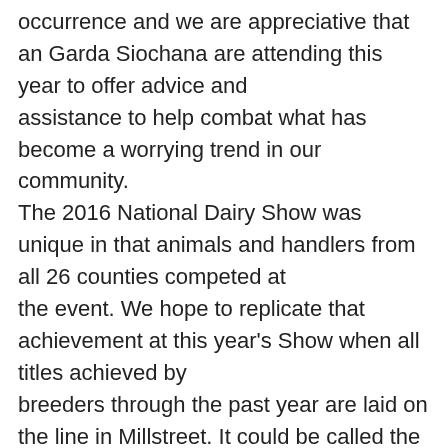occurrence and we are appreciative that an Garda Siochana are attending this year to offer advice and assistance to help combat what has become a worrying trend in our community. The 2016 National Dairy Show was unique in that animals and handlers from all 26 counties competed at the event. We hope to replicate that achievement at this year's Show when all titles achieved by breeders through the past year are laid on the line in Millstreet. It could be called the All Ireland final of cattle exhibiting and showing as again over 200 of the top Holstein and Jersey cattle will compete for national honours. The YMA Showmanship League will get proceedings underway on Friday evening, 20th